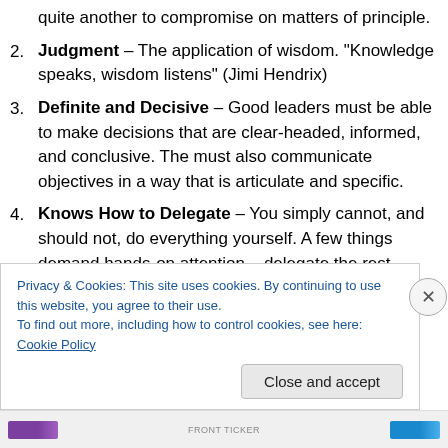quite another to compromise on matters of principle.
2. Judgment – The application of wisdom. "Knowledge speaks, wisdom listens" (Jimi Hendrix)
3. Definite and Decisive – Good leaders must be able to make decisions that are clear-headed, informed, and conclusive. The must also communicate objectives in a way that is articulate and specific.
4. Knows How to Delegate – You simply cannot, and should not, do everything yourself. A few things demand hands-on attention – delegate the rest. Remember what it is you are working for.
Privacy & Cookies: This site uses cookies. By continuing to use this website, you agree to their use.
To find out more, including how to control cookies, see here: Cookie Policy